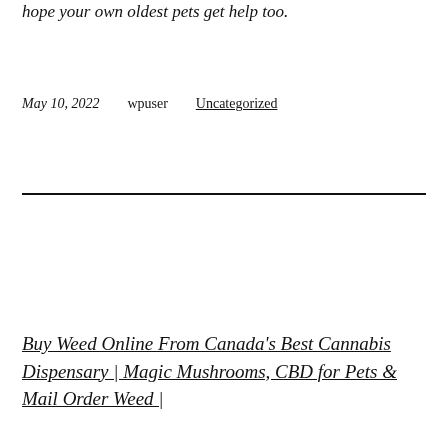hope your own oldest pets get help too.
May 10, 2022    wpuser    Uncategorized
Buy Weed Online From Canada's Best Cannabis Dispensary | Magic Mushrooms, CBD for Pets & Mail Order Weed |